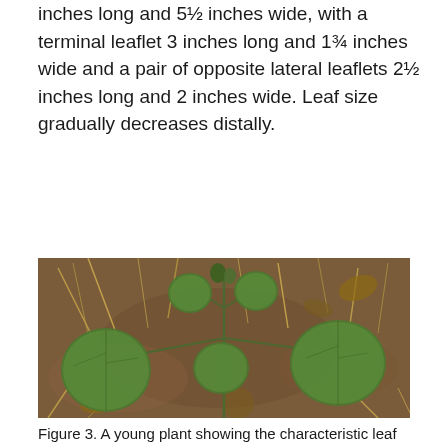inches long and 5½ inches wide, with a terminal leaflet 3 inches long and 1¾ inches wide and a pair of opposite lateral leaflets 2½ inches long and 2 inches wide. Leaf size gradually decreases distally.
[Figure (photo): Photograph of a small plant with round green leaves growing among dry brown grass and leaf litter on bare soil.]
Figure 3. A young plant showing the characteristic leaf form.